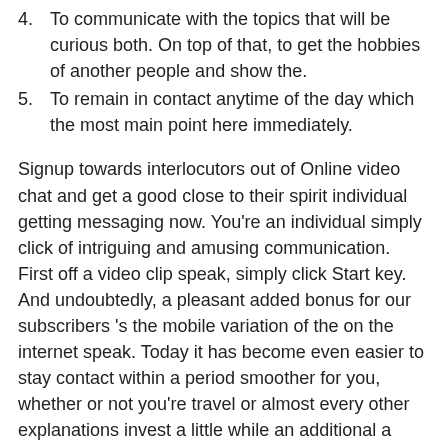4. To communicate with the topics that will be curious both. On top of that, to get the hobbies of another people and show the.
5. To remain in contact anytime of the day which the most main point here immediately.
Signup towards interlocutors out of Online video chat and get a good close to their spirit individual getting messaging now. You’re an individual simply click of intriguing and amusing communication. First off a video clip speak, simply click Start key. And undoubtedly, a pleasant added bonus for our subscribers ’s the mobile variation of the on the internet speak. Today it has become even easier to stay contact within a period smoother for you, whether or not you’re travel or almost every other explanations invest a little while an additional a portion of the nation; you have got illness or you just didn’t be able to get right to the desktop in time, an such like. Thus, bring your mobile at your fingertips, open the net browser installed on your own cellphone and you can wade so you can Chateek. On the other hand, currently